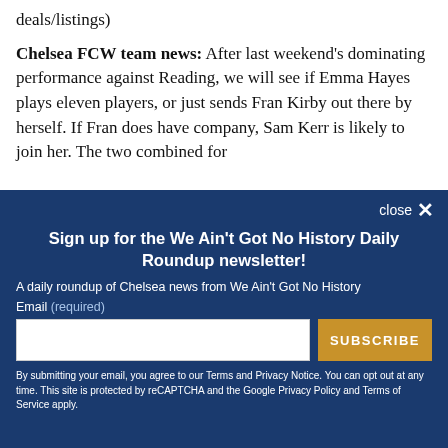deals/listings)
Chelsea FCW team news: After last weekend's dominating performance against Reading, we will see if Emma Hayes plays eleven players, or just sends Fran Kirby out there by herself. If Fran does have company, Sam Kerr is likely to join her. The two combined for
close ×
Sign up for the We Ain't Got No History Daily Roundup newsletter!
A daily roundup of Chelsea news from We Ain't Got No History
Email (required)
SUBSCRIBE
By submitting your email, you agree to our Terms and Privacy Notice. You can opt out at any time. This site is protected by reCAPTCHA and the Google Privacy Policy and Terms of Service apply.